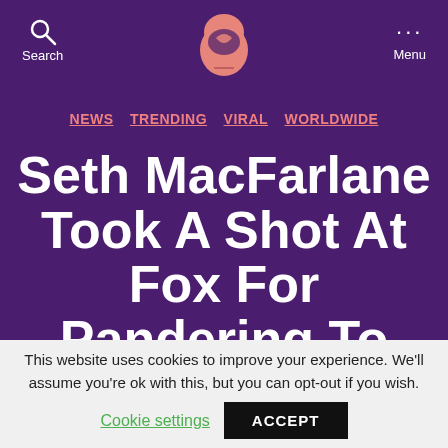Search | [Logo] | Menu
NEWS  TRENDING  VIRAL  WORLDWIDE
Seth MacFarlane Took A Shot At Fox For Pandering To The 'Lowest Common...
This website uses cookies to improve your experience. We'll assume you're ok with this, but you can opt-out if you wish.
Cookie settings  ACCEPT